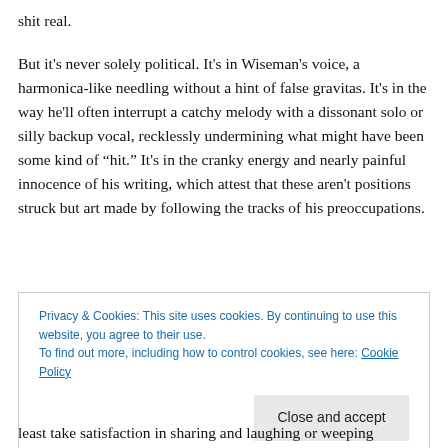shit real.
But it’s never solely political. It’s in Wiseman’s voice, a harmonica-like needling without a hint of false gravitas. It’s in the way he’ll often interrupt a catchy melody with a dissonant solo or silly backup vocal, recklessly undermining what might have been some kind of “hit.” It’s in the cranky energy and nearly painful innocence of his writing, which attest that these aren't positions struck but art made by following the tracks of his preoccupations.
Privacy & Cookies: This site uses cookies. By continuing to use this website, you agree to their use.
To find out more, including how to control cookies, see here: Cookie Policy
Close and accept
least take satisfaction in sharing and laughing or weeping